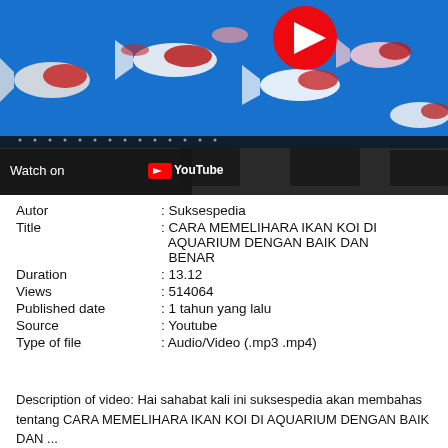[Figure (screenshot): YouTube video thumbnail showing koi fish in a blue aquarium with the YouTube play button overlay and 'Watch on YouTube' branding bar at the bottom left.]
| Autor | : Suksespedia |
| Title | : CARA MEMELIHARA IKAN KOI DI AQUARIUM DENGAN BAIK DAN BENAR |
| Duration | : 13.12 |
| Views | : 514064 |
| Published date | : 1 tahun yang lalu |
| Source | : Youtube |
| Type of file | : Audio/Video (.mp3 .mp4) |
Description of video: Hai sahabat kali ini suksespedia akan membahas tentang CARA MEMELIHARA IKAN KOI DI AQUARIUM DENGAN BAIK DAN ...